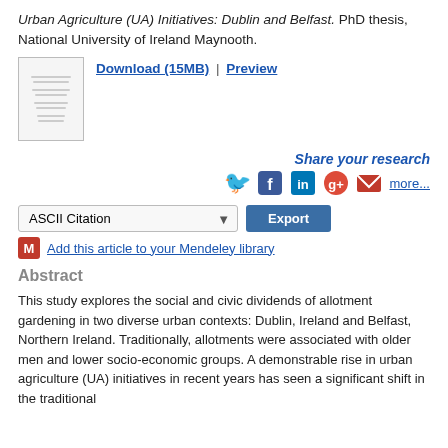Urban Agriculture (UA) Initiatives: Dublin and Belfast. PhD thesis, National University of Ireland Maynooth.
[Figure (screenshot): Thumbnail preview image of the PhD thesis document cover page]
Download (15MB) | Preview
Share your research
[Figure (infographic): Social media sharing icons: Twitter, Facebook, LinkedIn, Google+, Email, and more... link]
ASCII Citation [dropdown] Export button
Add this article to your Mendeley library
Abstract
This study explores the social and civic dividends of allotment gardening in two diverse urban contexts: Dublin, Ireland and Belfast, Northern Ireland. Traditionally, allotments were associated with older men and lower socio-economic groups. A demonstrable rise in urban agriculture (UA) initiatives in recent years has seen a significant shift in the traditional